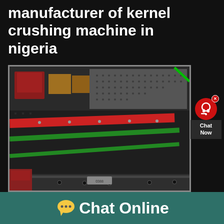manufacturer of kernel crushing machine in nigeria
[Figure (photo): Industrial kernel crushing machine with red and green striped conveyor/screen surface in a factory setting]
[Figure (other): Chat Now widget - red circle with headset icon and dark label reading 'Chat Now']
Malaysia Palm Kernel Expeller | Mills
Chat Online